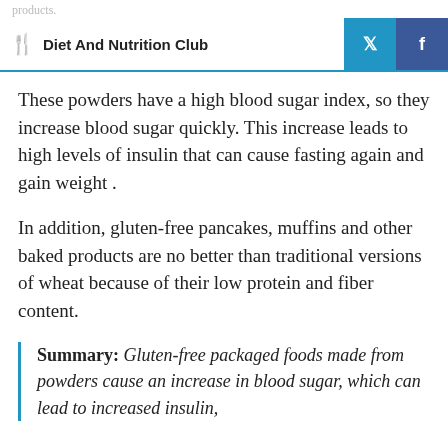Diet And Nutrition Club
These powders have a high blood sugar index, so they increase blood sugar quickly. This increase leads to high levels of insulin that can cause fasting again and gain weight .
In addition, gluten-free pancakes, muffins and other baked products are no better than traditional versions of wheat because of their low protein and fiber content.
Summary: Gluten-free packaged foods made from powders cause an increase in blood sugar, which can lead to increased insulin,